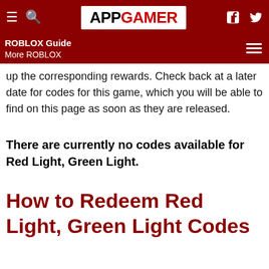APPGAMER | ROBLOX Guide | More ROBLOX
up the corresponding rewards. Check back at a later date for codes for this game, which you will be able to find on this page as soon as they are released.
There are currently no codes available for Red Light, Green Light.
How to Redeem Red Light, Green Light Codes